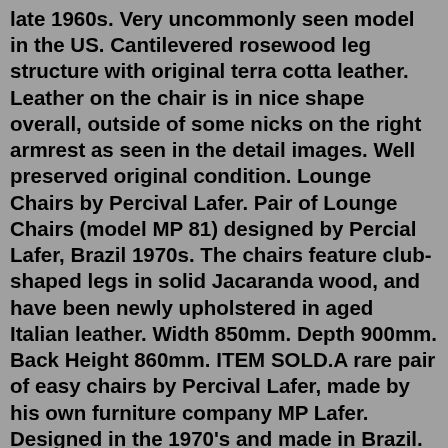late 1960s. Very uncommonly seen model in the US. Cantilevered rosewood leg structure with original terra cotta leather. Leather on the chair is in nice shape overall, outside of some nicks on the right armrest as seen in the detail images. Well preserved original condition. Lounge Chairs by Percival Lafer. Pair of Lounge Chairs (model MP 81) designed by Percial Lafer, Brazil 1970s. The chairs feature club-shaped legs in solid Jacaranda wood, and have been newly upholstered in aged Italian leather. Width 850mm. Depth 900mm. Back Height 860mm. ITEM SOLD.A rare pair of easy chairs by Percival Lafer, made by his own furniture company MP Lafer. Designed in the 1970's and made in Brazil. The seats in natural leather are positioned in a frame of Jacaranda wood. ... A rare set Thonet lounge chairs Jozef Frank . stay tuned Subscribe to our newsletter. submit. design art archive stories about wishlist ...Customize. Very nice comfortable lounge chair designed and manufactured by Percival Lafer, Brazil